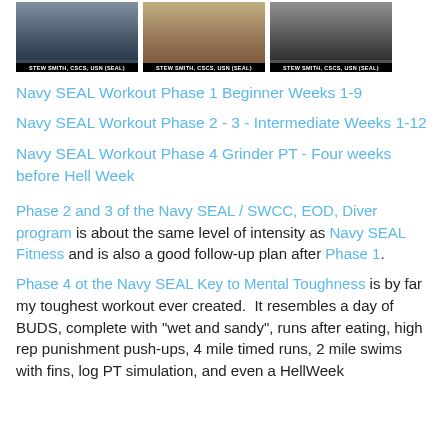[Figure (photo): Three book/DVD cover images of Navy SEAL workout programs by Stew Smith, CSCS, USN (SEAL), shown side by side]
Navy SEAL Workout Phase 1 Beginner Weeks 1-9
Navy SEAL Workout Phase 2 - 3 - Intermediate Weeks 1-12
Navy SEAL Workout Phase 4 Grinder PT - Four weeks before Hell Week
Phase 2 and 3 of the Navy SEAL / SWCC, EOD, Diver program is about the same level of intensity as Navy SEAL Fitness and is also a good follow-up plan after Phase 1.
Phase 4 ot the Navy SEAL Key to Mental Toughness is by far my toughest workout ever created.  It resembles a day of BUDS, complete with "wet and sandy", runs after eating, high rep punishment push-ups, 4 mile timed runs, 2 mile swims with fins, log PT simulation, and even a HellWeek